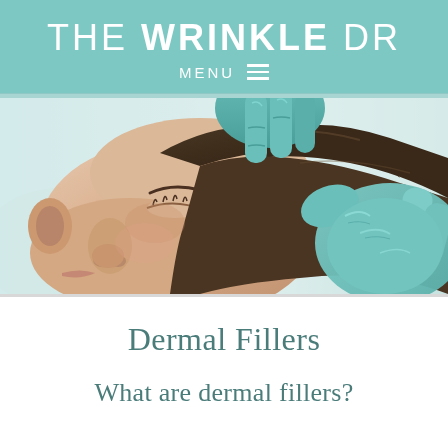THE WRINKLE DR
MENU
[Figure (photo): A patient lying down with eyes closed while a medical professional wearing teal/green latex gloves applies or examines their forehead and temple area, suggesting a dermal filler procedure.]
Dermal Fillers
What are dermal fillers?